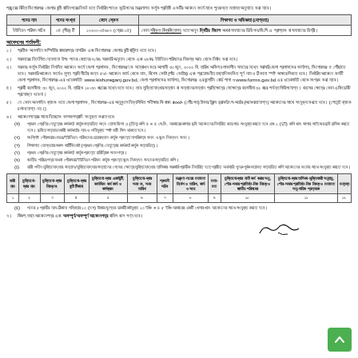প্রচুরের বিহিত কিশোরগঞ্জ জেলার বুতী বাতিনগরের নিকট হতে নির্ধারিত পদ্ধে কন্ডিশনের মন্ত্রণালয় কর্তৃক প্রতিষ্ঠি একটির অবেদন ফর্মে মাধে পুনরুক্ত মতামত অনুযায়ে করা যাবে।
| পদের নাম | পদের সংখ্যা | বেতন স্কেল | শিক্ষাগত ও অভিজ্ঞতা (যোগ্যতা) |
| --- | --- | --- | --- |
| ইউনিয়ন পরিষদ সচিব | ০৪ (পীর) টি | ১০২০০-২৪৬৮০ (গ্রেড-১৪) | কোন স্বীকৃত বিশ্ববিদ্যালয় হতে অনূন দ্বিতীয় বিভাগ অথবা সমমানের ডিভিশন/জি.পি.এ প্রাপ্তক বা সমমানের ডিগ্রী। |
আবেদনের শর্তাবলী:
১। প্রতীক অনলাইন কম্পিউটর বাজারপত্র নাগরিক এবং কিশোরগঞ্জ জেলার বুতী বাসিন্দা হতে হবে।
২। সরকারের নির্দেশিত যেকোনো উপঃ পদের বেতনের ৭১% সরকারি অনুদান থেকে এবং ২৯% ইউনিয়ন পরিষদের নিজস্ব আয় থেকে নির্বাহ করা হবে।
৩। সরকার কর্তৃক নির্ধারিত নিগমিত আবেদন ফর্মে 'জেলা প্রশাসক, কিশোরগঞ্জ'কে সম্বোধন করে আগামী ৩০ জুন, ২০২২ খি. তারিখ অফিস চলাকালীন সময়ের মধ্যে সরাসরি জেলা প্রশাসকের কার্যালয়, কিশোরগঞ্জ ৪ পৌঁছাতে হবে। সরকারি আবেদন ফর্মেও মূল্য প্রতি সীটের জন্য ৫০/- আবেদন ফার্ম থেকে নাম, বিশেষ কোটা (পাঁচ কোটার) এবং প্রয়োজনীয় তথ্যাদিসহকিত পূর্ণ নাম ও ঠিকানা স্পষ্ট অক্ষরে লিখতে হবে। নির্ধারিত আবেদন ফর্মটি জেলা প্রশাসক, কিশোরগঞ্জ-এর ওয়েবসাইট: www.kishoreganj.gov.bd, জেলা প্রশাসকের কার্যালয়, কিশোরগঞ্জ এর বুলেটিন বোর্ড পাশা ও www.forms.gov.bd এর ওয়েবসাইট থেকে সংগ্রহ করা যাবে।
৪। প্রার্থী বয়সসীমা: ৩০ জুন, ২০২২ খি. তারিখে ১৮-৩০ বছরের মধ্যে হতে হবে। তবে মুক্তিযোদ্ধার সন্তান বা সন্তানের সন্তান প্রতিক্ষেত্রে সেক্ষেত্রে বয়সসীমা ৩২ বছর পর্যন্ত শিথিলযোগ্য। বয়সের ক্ষেত্রে কোন এফিডেবিট প্রযোজ্য হবে না।
৫। যে কোন অনলাইন ব্যাংক হতে জেলা প্রশাসক, কিশোরগঞ্জ-এর অনুকূলে নিম্নলিখিত পদীক্ষার ফি বাবদ ৫০০/- (পৌঁচশত) টাকার ট্রান্স ড্রাফট/পে-অর্ডার (অফেরতযোগ্য) আবেদনের সাথে সংযুক্ত করতে হবে। (পেমেন্ট ব্যাংক চলানযোগ্য নয়।)
৬। আবেদনপত্রের সাথে নিচ্ছোক কাগজপত্রাদি সংযুক্ত করতে হবে:
(ক) প্রথম শ্রেণির নেতৃত্বের কর্মকর্তা কর্তৃক সত্যায়িত সদ্য তোলা জিলা ৩ (তিন) কপি ৪ × ৪ সে.মি. আকারের কালার ছবি আবেদনের নির্ধারিত জায়গায় সংযুক্ত করতে হবে এবং ১ (দুই) কপি খাম সাপার সাইজের ছবি চালিক করতে হবে। ছবিতে সত্যায়নকারী কর্মকর্তার নাম ও পদীমুক্ত স্পষ্ট ষষ্ঠী সিল থাকতে হবে।
(খ) সংশ্লিষ্ট পৌরসভার মেয়র/ইউনিয়ন পরিষদের চেয়ারম্যান কর্তৃক প্রদত্ত নাগরিকত্ব সনদ ও জন্ম নিবন্ধন সনদ।
(গ) শিক্ষাগত যোগ্যতার সকল সার্টিফিকেট (প্রথম শ্রেণির নেতৃত্বের কর্মকর্তা কর্তৃক সত্যায়িত)।
(ঘ) প্রথম শ্রেণির নেতৃত্বের কর্মকর্তা কর্তৃক প্রদত্ত চারিত্রিক সনদপত্র।
(ঙ) জাতীয় পরিচয়পত্র অথবা পৌরসভা/ইউনিয়ন পরিষদ কর্তৃক প্রদত্ত জন্ম নিবন্ধন সনদের সত্যায়িত কপি।
(চ) ভারী পদীন মুক্তিযোদ্ধার সন্তান/মুক্তিযোদ্ধার সন্তানের শেষের ক্ষেত্রে মুক্তিযোদ্ধার তালিকার সরকারি প্রার্থীক নির্ধারিত হতে প্রষ্ঠিত অর্থসারি পুনরুপূর্বক মতামত সত্যায়িত কপি আবেদনের ফর্মের সাথে সংযুক্ত করতে হবে।
| ভারী নাম | মুক্তিযোদ্ধার নাম | মুক্তিযোদ্ধার নিবন্ধ নং | মুক্তিযোদ্ধার বুতী টিকানা | মুক্তিযোদ্ধার একাউন্টি, কর্মাভিম, কর্ম কার্য ও কর্ম মান | মুক্তিযোদ্ধার সনদ নং, সনদ তারিখ | প্রথমী সচিব | মন্ত্রণালয়ের মতামত, নির্দেশ ও তারিখের কার্য এবং আয় | মতামত | মুক্তিযোদ্ধার নাতী কর্ম করার অনুযায়ু, পৌরসভার প্রাতিষ্ঠানিক নিবন্ধ ও জাতীয় পরিষদের | মুক্তিযোদ্ধার তালিকাভুক্তিকারী অনুযায়ু, পৌরসভার প্রাতিষ্ঠানিক নিবন্ধ ও মতামত অনুযায়িক প্রত্যয়ক | মন্তব্য |
| --- | --- | --- | --- | --- | --- | --- | --- | --- | --- | --- | --- |
| ১ | ২ | ৩ | ৪ | ৫ | ৬ | ৭ | ৮ | ৯ | ১০ | ১১ | ১২ |
(ছ) পদের ৫ প্রার্থীর নাম-ঠিকানা লম্বিতার ১০ (দশ) টাকার মূল্যের ডাকটিকেটযুক্ত ১০ ইঞ্চি × ৪ ৫ ইঞ্চি আকারের একটি খেলার খাম আবেদনের সাথে সংযুক্ত করতে হবে।
৭। বিজ্ঞপ্ তথ্য আবেদনপত্র এবং অসম্পূর্ণ/অসম্পূর্ণ আবেদনপত্র বাতিল বলে গণ্য হবে।
[Figure (illustration): Handwritten signature of authority]